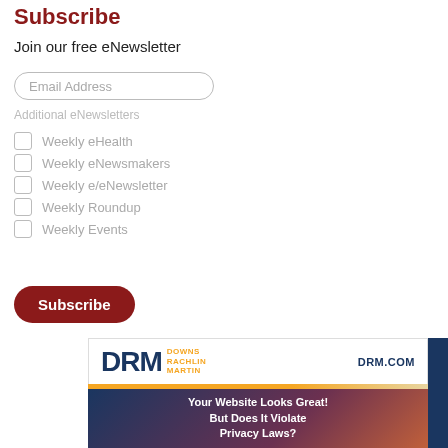Subscribe
Join our free eNewsletter
Email Address
Additional eNewsletters
Weekly eHealth
Weekly eNewsmakers
Weekly e/eNewsletter
Weekly Roundup
Weekly Events
Subscribe
[Figure (illustration): DRM (Downs Rachlin Martin) law firm advertisement with logo, DRM.COM url, decorative gold stripe, and dark blue/maroon background with text: Your Website Looks Great! But Does It Violate Privacy Laws?]